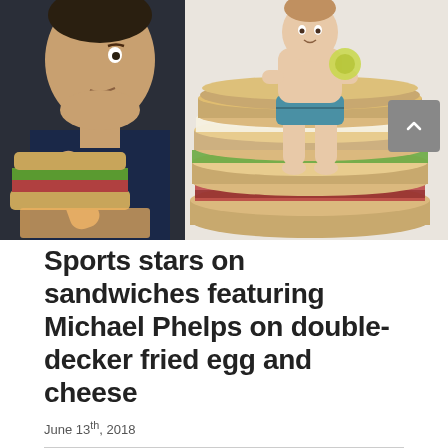[Figure (illustration): Composite illustration showing a man eating a sandwich on the left side (photographic), and a cartoon/painted figure of a small person (Michael Phelps caricature) sitting atop a large stacked double-decker sandwich on the right side, against a light background.]
Sports stars on sandwiches featuring Michael Phelps on double-decker fried egg and cheese
June 13th, 2018